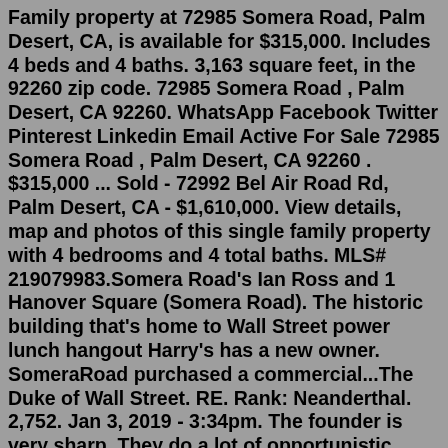Family property at 72985 Somera Road, Palm Desert, CA, is available for $315,000. Includes 4 beds and 4 baths. 3,163 square feet, in the 92260 zip code. 72985 Somera Road , Palm Desert, CA 92260. WhatsApp Facebook Twitter Pinterest Linkedin Email Active For Sale 72985 Somera Road , Palm Desert, CA 92260 . $315,000 ... Sold - 72992 Bel Air Road Rd, Palm Desert, CA - $1,610,000. View details, map and photos of this single family property with 4 bedrooms and 4 total baths. MLS# 219079983.Somera Road's Ian Ross and 1 Hanover Square (Somera Road). The historic building that's home to Wall Street power lunch hangout Harry's has a new owner. SomeraRoad purchased a commercial...The Duke of Wall Street. RE. Rank: Neanderthal. 2,752. Jan 3, 2019 - 3:34pm. The founder is very sharp. They do a lot of opportunistic deals in non-core markets. Recently have made a push to do Opportunity Zone deals. Authored by: Certified Real Estate Professional - Director.Sold - 72992 Bel Air Road Rd, Palm Desert,